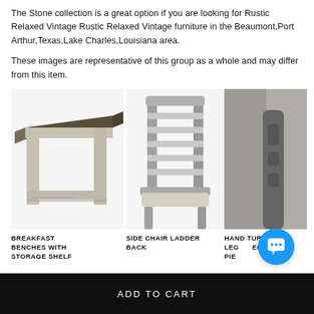The Stone collection is a great option if you are looking for Rustic Relaxed Vintage Rustic Relaxed Vintage furniture in the Beaumont,Port Arthur,Texas,Lake Charles,Louisiana area.
These images are representative of this group as a whole and may differ from this item.
[Figure (photo): Photo of a rustic gray wooden breakfast bench with a lower storage shelf]
BREAKFAST BENCHES WITH STORAGE SHELF
[Figure (photo): Photo of a gray wooden side chair with ladder back and upholstered seat]
SIDE CHAIR LADDER BACK
[Figure (photo): Partial photo of a hand turned leg piece, partially obscured by chat icon]
HAND TURNED LEG... EC... PIE...
ADD TO CART